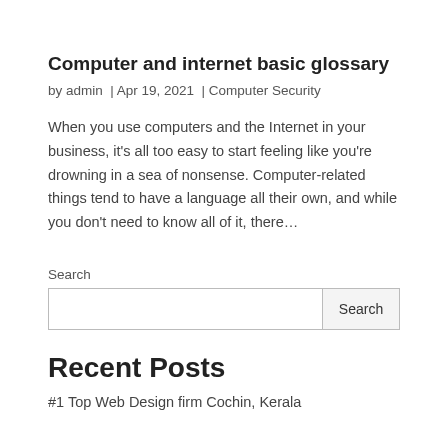Computer and internet basic glossary
by admin  |  Apr 19, 2021  |  Computer Security
When you use computers and the Internet in your business, it’s all too easy to start feeling like you’re drowning in a sea of nonsense. Computer-related things tend to have a language all their own, and while you don’t need to know all of it, there…
Search
Recent Posts
#1 Top Web Design firm Cochin, Kerala